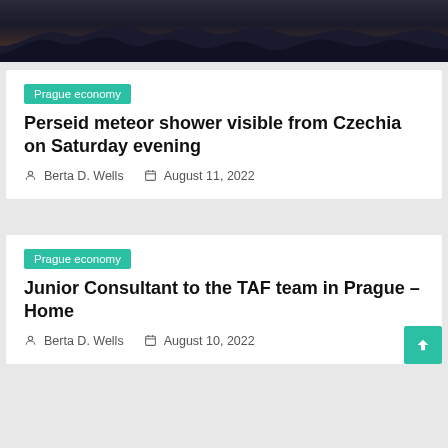[Figure (photo): Night sky photo showing dark mountain silhouette against a starry sky with subtle horizon glow]
Prague economy
Perseid meteor shower visible from Czechia on Saturday evening
Berta D. Wells   August 11, 2022
Prague economy
Junior Consultant to the TAF team in Prague – Home
Berta D. Wells   August 10, 2022